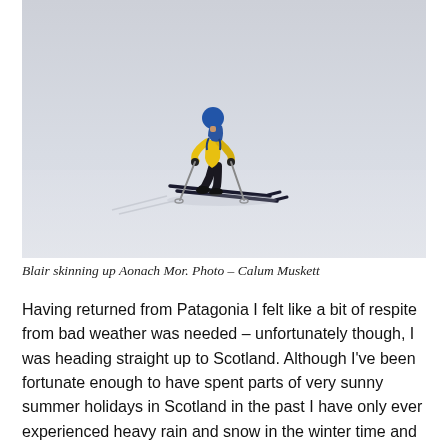[Figure (photo): A skier wearing a yellow jacket, blue backpack, and dark ski pants, skinning uphill on a snowy slope in misty/white-out conditions on Aonach Mor. The background is a flat white-grey sky blending with snow.]
Blair skinning up Aonach Mor. Photo – Calum Muskett
Having returned from Patagonia I felt like a bit of respite from bad weather was needed – unfortunately though, I was heading straight up to Scotland. Although I've been fortunate enough to have spent parts of very sunny summer holidays in Scotland in the past I have only ever experienced heavy rain and snow in the winter time and spent a considerable amount of time shivering in howling